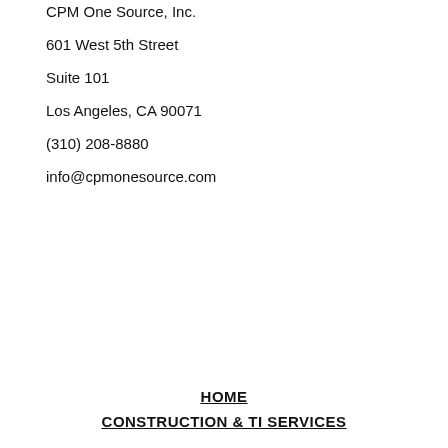CPM One Source, Inc.
601 West 5th Street
Suite 101
Los Angeles, CA 90071
(310) 208-8880
info@cpmonesource.com
HOME
CONSTRUCTION & TI SERVICES